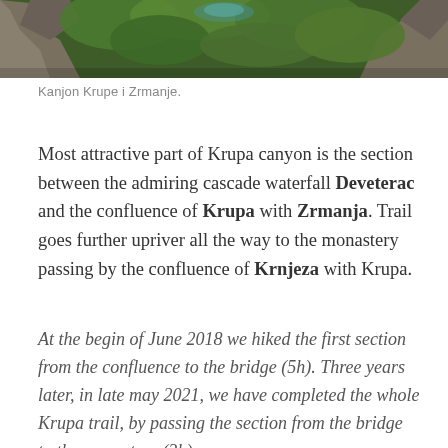[Figure (photo): Aerial/landscape photo of a canyon with rocky cliffs, lush green vegetation, and turquoise water visible at the top of the page.]
Kanjon Krupe i Zrmanje.
Most attractive part of Krupa canyon is the section between the admiring cascade waterfall Deveterac and the confluence of Krupa with Zrmanja. Trail goes further upriver all the way to the monastery passing by the confluence of Krnjeza with Krupa.
At the begin of June 2018 we hiked the first section from the confluence to the bridge (5h). Three years later, in late may 2021, we have completed the whole Krupa trail, by passing the section from the bridge to the monastery (3h).